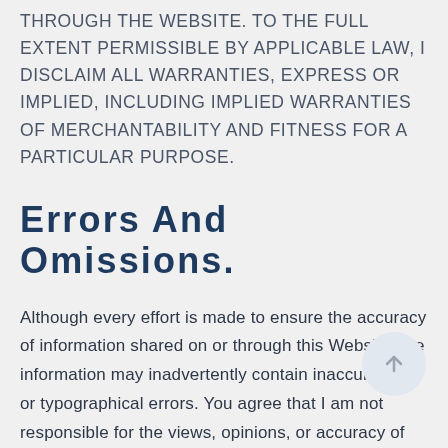THROUGH THE WEBSITE. TO THE FULL EXTENT PERMISSIBLE BY APPLICABLE LAW, I DISCLAIM ALL WARRANTIES, EXPRESS OR IMPLIED, INCLUDING IMPLIED WARRANTIES OF MERCHANTABILITY AND FITNESS FOR A PARTICULAR PURPOSE.
Errors And Omissions.
Although every effort is made to ensure the accuracy of information shared on or through this Website, the information may inadvertently contain inaccuracies or typographical errors. You agree that I am not responsible for the views, opinions, or accuracy of facts referenced on or through